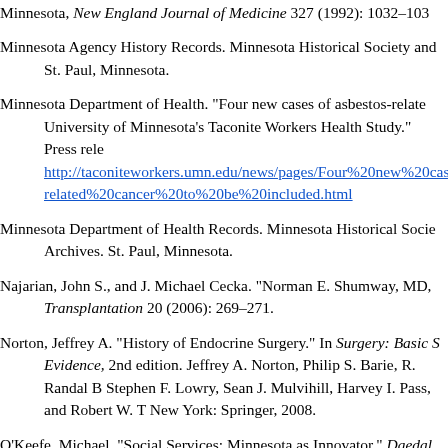Minnesota, New England Journal of Medicine 327 (1992): 1032–103
Minnesota Agency History Records. Minnesota Historical Society and St. Paul, Minnesota.
Minnesota Department of Health. "Four new cases of asbestos-related University of Minnesota's Taconite Workers Health Study." Press release. http://taconiteworkers.umn.edu/news/pages/Four%20new%20cases%related%20cancer%20to%20be%20included.html
Minnesota Department of Health Records. Minnesota Historical Society Archives. St. Paul, Minnesota.
Najarian, John S., and J. Michael Cecka. "Norman E. Shumway, MD, Transplantation 20 (2006): 269–271.
Norton, Jeffrey A. "History of Endocrine Surgery." In Surgery: Basic Science and Clinical Evidence, 2nd edition. Jeffrey A. Norton, Philip S. Barie, R. Randal B Stephen F. Lowry, Sean J. Mulvihill, Harvey I. Pass, and Robert W. T New York: Springer, 2008.
O'Keefe, Michael. "Social Services: Minnesota as Innovator." Daedal